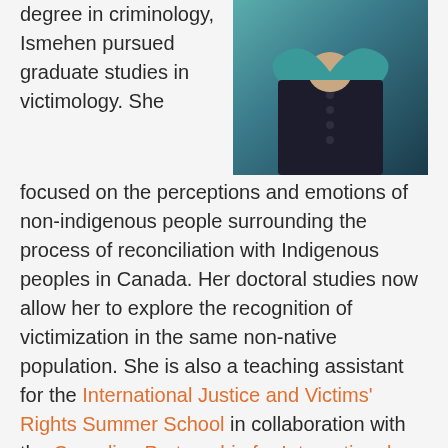[Figure (photo): Photo of a person wearing a dark shirt with buttons, teal/dark background]
degree in criminology, Ismehen pursued graduate studies in victimology. She focused on the perceptions and emotions of non-indigenous people surrounding the process of reconciliation with Indigenous peoples in Canada. Her doctoral studies now allow her to explore the recognition of victimization in the same non-native population. She is also a teaching assistant for the International Justice and Victims' Rights Summer School in collaboration with the Canadian Partnership for International Justice. Her interests in criminology and human rights also allowed her to get involved with the NGO Amnesty International – UdeM, which she was president in the past years. Ismehen is also assistant to the Special